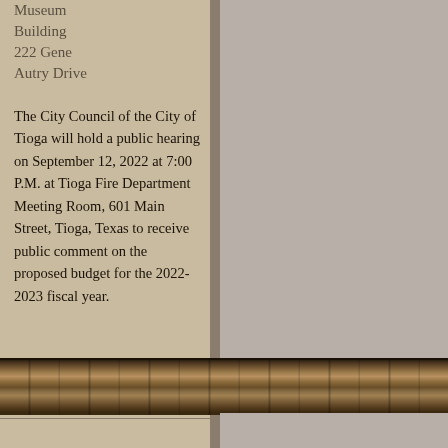Museum Building
222 Gene Autry Drive
The City Council of the City of Tioga will hold a public hearing on September 12, 2022 at 7:00 P.M. at Tioga Fire Department Meeting Room, 601 Main Street, Tioga, Texas to receive public comment on the proposed budget for the 2022-2023 fiscal year.
[Figure (photo): Wood plank texture strip showing horizontal wooden boards with visible grain and knots, dark border at top]